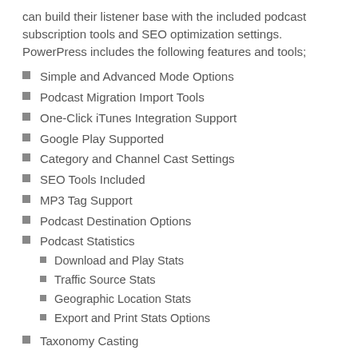can build their listener base with the included podcast subscription tools and SEO optimization settings. PowerPress includes the following features and tools;
Simple and Advanced Mode Options
Podcast Migration Import Tools
One-Click iTunes Integration Support
Google Play Supported
Category and Channel Cast Settings
SEO Tools Included
MP3 Tag Support
Podcast Destination Options
Podcast Statistics
Download and Play Stats
Traffic Source Stats
Geographic Location Stats
Export and Print Stats Options
Taxonomy Casting